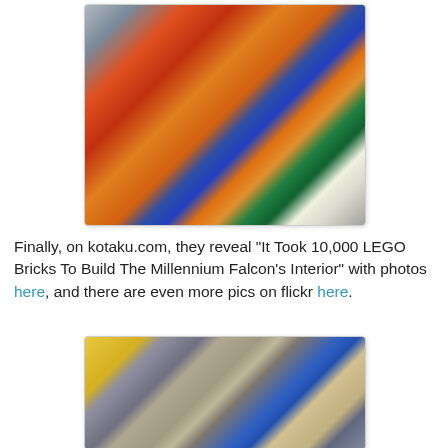[Figure (photo): Large colorful mosaic or LEGO artwork laid out on a floor, viewed from above, featuring red, blue, orange, yellow, and green elements forming a complex scene.]
Finally, on kotaku.com, they reveal "It Took 10,000 LEGO Bricks To Build The Millennium Falcon's Interior" with photos here, and there are even more pics on flickr here.
[Figure (photo): Aerial view of a detailed LEGO model of the Millennium Falcon's interior, showing intricate grey and tan construction with a blue background.]